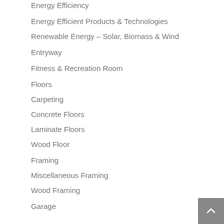Energy Efficient Products & Technologies
Renewable Energy – Solar, Biomass & Wind
Entryway
Fitness & Recreation Room
Floors
Carpeting
Concrete Floors
Laminate Floors
Wood Floor
Framing
Miscellaneous Framing
Wood Framing
Garage